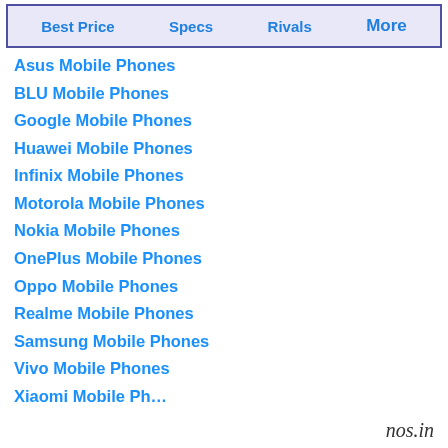| Best Price | Specs | Rivals | More |
| --- | --- | --- | --- |
Asus Mobile Phones
BLU Mobile Phones
Google Mobile Phones
Huawei Mobile Phones
Infinix Mobile Phones
Motorola Mobile Phones
Nokia Mobile Phones
OnePlus Mobile Phones
Oppo Mobile Phones
Realme Mobile Phones
Samsung Mobile Phones
Vivo Mobile Phones
Xiaomi Mobile Ph…
nos.in